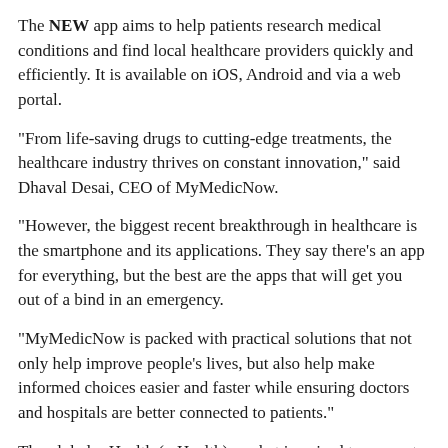The NEW app aims to help patients research medical conditions and find local healthcare providers quickly and efficiently. It is available on iOS, Android and via a web portal.
“From life-saving drugs to cutting-edge treatments, the healthcare industry thrives on constant innovation,” said Dhaval Desai, CEO of MyMedicNow.
“However, the biggest recent breakthrough in healthcare is the smartphone and its applications. They say there’s an app for everything, but the best are the apps that will get you out of a bind in an emergency.
“MyMedicNow is packed with practical solutions that not only help improve people’s lives, but also help make informed choices easier and faster while ensuring doctors and hospitals are better connected to patients.”
The global mHealth (mHealth) market is poised to grow at a compound annual growth rate of approximately 33.8% over the next ten years to reach approximately USD 181.52 billion by 2025, according to a report by Research2Guidance Annual mHealth – 2016.
SEE ALSO: